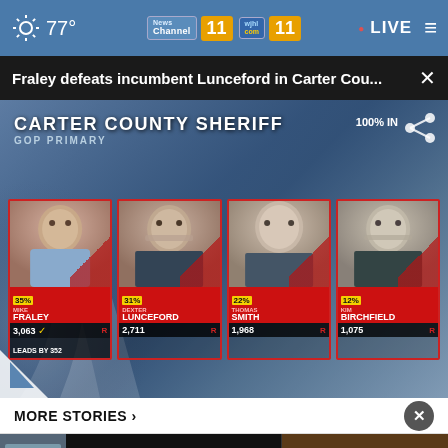77° | News Channel 11 WJHL | LIVE
Fraley defeats incumbent Lunceford in Carter Cou...
[Figure (screenshot): Carter County Sheriff GOP Primary election results showing four candidates: Mike Fraley 35% / 3,063 votes (leads by 352), Dexter Lunceford 31% / 2,711 votes, Thomas Smith 22% / 1,968 votes, Kim Birchfield 12% / 1,075 votes. 100% IN.]
MORE STORIES ›
[Figure (screenshot): Advertisement for Jim Williams & Associates Attorneys at Law, LLC with phone numbers 423-218-1062 and 276-262-2958 with call to action CALL US TODAY]